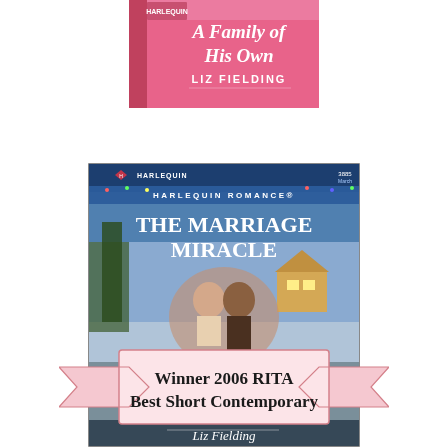[Figure (illustration): Book cover for 'A Family of His Own' by Liz Fielding — pink Harlequin Romance cover, partially cropped at top]
[Figure (illustration): Book cover for 'The Marriage Miracle' by Liz Fielding — Harlequin Romance, winter scene with couple embracing, overlaid with a pink ribbon banner reading 'Winner 2006 RITA Best Short Contemporary']